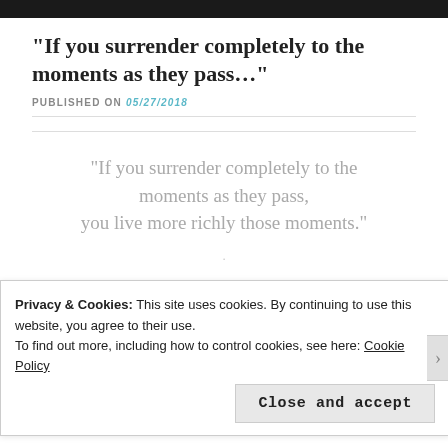[Figure (photo): Dark top image bar (partial screenshot of a header image)]
“If you surrender completely to the moments as they pass…”
PUBLISHED ON 05/27/2018
“If you surrender completely to the moments as they pass, you live more richly those moments.”
Privacy & Cookies: This site uses cookies. By continuing to use this website, you agree to their use.
To find out more, including how to control cookies, see here: Cookie Policy
Close and accept